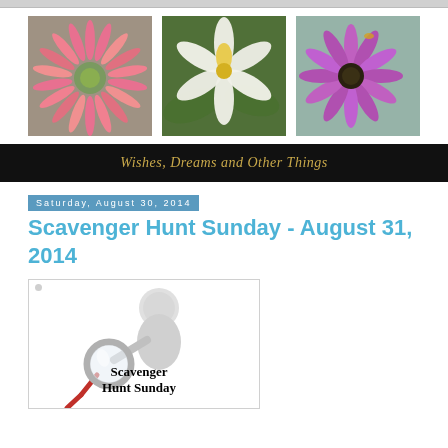[Figure (photo): Three flower photos side by side: left - pink spiky gerbera daisy close-up, center - white and yellow lily-type flower with green leaves, right - purple daisy with bee on sunny day]
Wishes, Dreams and Other Things
Saturday, August 30, 2014
Scavenger Hunt Sunday - August 31, 2014
[Figure (illustration): Scavenger Hunt Sunday logo: white 3D figure holding a magnifying glass with text 'Scavenger Hunt Sunday']